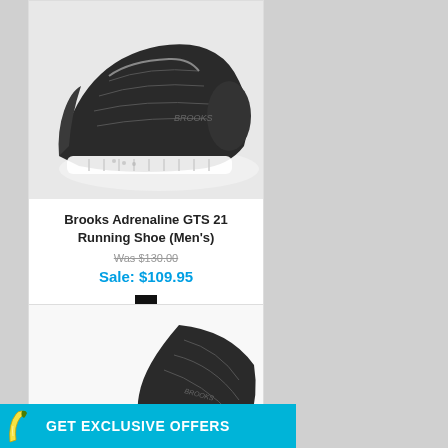[Figure (photo): Brooks Adrenaline GTS 21 running shoe in black/grey colorway, side and top view, on white background]
Brooks Adrenaline GTS 21 Running Shoe (Men's)
Was $130.00
Sale: $109.95
Available Sizes: 9, 11.5
FREE SHIPPING
[Figure (photo): Partial view of a second running shoe, dark color, on white background]
GET EXCLUSIVE OFFERS